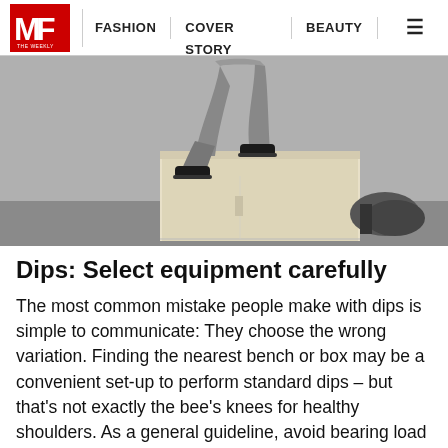MF THE WEEKLY | FASHION | COVER STORY | BEAUTY
[Figure (photo): Person performing a box jump or squat on a white wooden plyo box in a gym setting, viewed from mid-body down, wearing grey leggings and dark sneakers. Weight plates visible in background.]
Dips: Select equipment carefully
The most common mistake people make with dips is simple to communicate: They choose the wrong variation. Finding the nearest bench or box may be a convenient set-up to perform standard dips – but that's not exactly the bee's knees for healthy shoulders. As a general guideline, avoid bearing load while the shoulder is stuck in internal